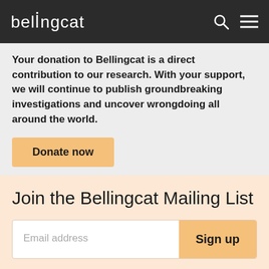bellingcat
Your donation to Bellingcat is a direct contribution to our research. With your support, we will continue to publish groundbreaking investigations and uncover wrongdoing all around the world.
Donate now
Join the Bellingcat Mailing List
Email address
Sign up
Along with our published content, we will update our readers on events that our staff and contributors are involved with, such as noteworthy interviews and training